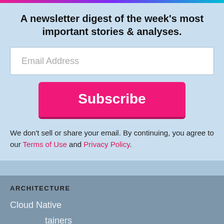A newsletter digest of the week's most important stories & analyses.
Email Address
Subscribe
We don't sell or share your email. By continuing, you agree to our Terms of Use and Privacy Policy.
ARCHITECTURE
Cloud Native
Containers
Edge/IoT